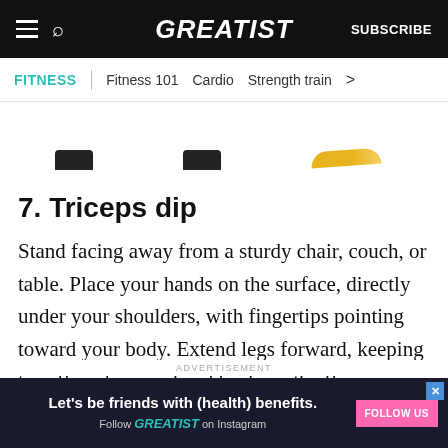GREATIST | SUBSCRIBE
FITNESS | Fitness 101 | Cardio | Strength train >
[Figure (illustration): Partial images of exercise illustrations, showing dark silhouette shapes and a yellow/orange banana-like shape at the bottom of exercise cards]
7. Triceps dip
Stand facing away from a sturdy chair, couch, or table. Place your hands on the surface, directly under your shoulders, with fingertips pointing toward your body. Extend legs forward, keeping toes flexed upward and heels on the floor.
ADVERTISEMENT
[Figure (infographic): Advertisement banner: 'Let's be friends with (health) benefits. Follow GREATIST on Instagram' with pink FOLLOW US button on dark background]